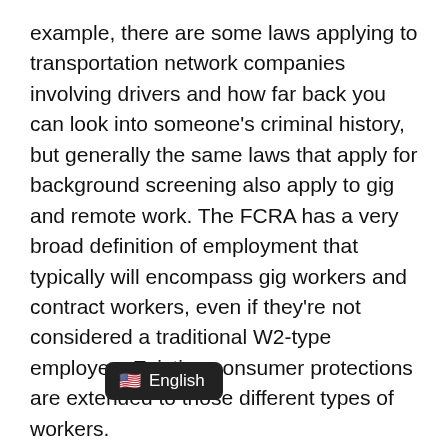example, there are some laws applying to transportation network companies involving drivers and how far back you can look into someone's criminal history, but generally the same laws that apply for background screening also apply to gig and remote work. The FCRA has a very broad definition of employment that typically will encompass gig workers and contract workers, even if they're not considered a traditional W2-type employee. Existing consumer protections are extended to those different types of workers.
What's the key takeaway for HR compliance te[English]? Again and again, our panelists [...]eams to avoid having a "set it...